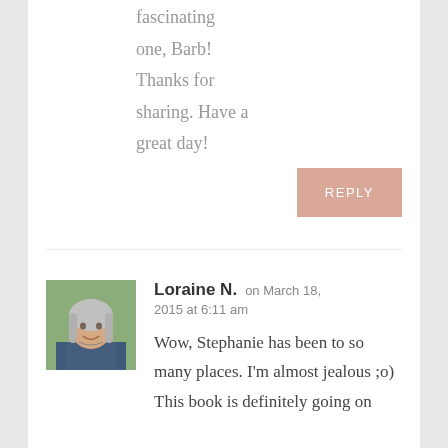fascinating one, Barb! Thanks for sharing. Have a great day!
REPLY
Loraine N. on March 18, 2015 at 6:11 am
[Figure (photo): Profile photo of a smiling woman with long gray hair, wearing a patterned top, photographed outdoors.]
Wow, Stephanie has been to so many places. I'm almost jealous ;o) This book is definitely going on